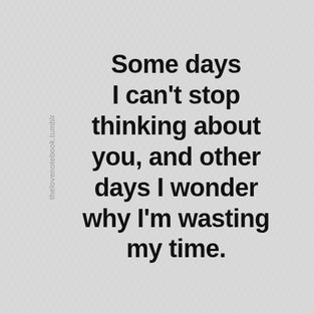Some days I can't stop thinking about you, and other days I wonder why I'm wasting my time.
thelovenotebook.tumblr